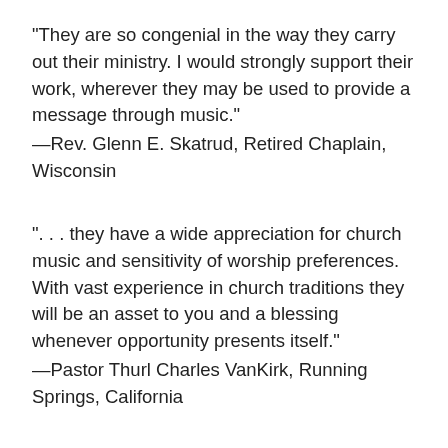“They are so congenial in the way they carry out their ministry.  I would strongly support their work, wherever they may be used to provide a message through music.”
—Rev. Glenn E. Skatrud, Retired Chaplain, Wisconsin
“. . . they have a wide appreciation for church music and sensitivity of worship preferences.  With vast experience in church traditions they will be an asset to you and a blessing whenever opportunity presents itself.”
—Pastor Thurl Charles VanKirk, Running Springs, California
“John and Connie are a great multi-talented team. Their love of God can easily be seen in their music as